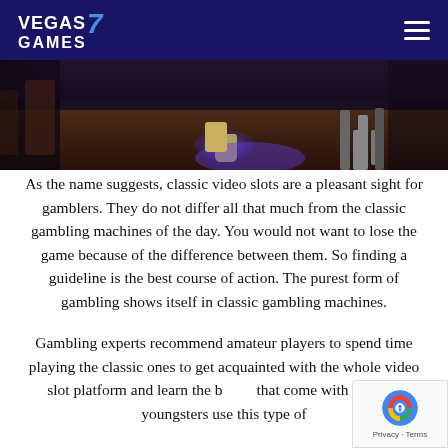VEGAS 7 GAMES
[Figure (photo): Casino floor photo showing dark interior with purple/blue lighting, a gold/silver bucket, wooden floor, and people's legs in the background]
As the name suggests, classic video slots are a pleasant sight for gamblers. They do not differ all that much from the classic gambling machines of the day. You would not want to lose the game because of the difference between them. So finding a guideline is the best course of action. The purest form of gambling shows itself in classic gambling machines.
Gambling experts recommend amateur players to spend time playing the classic ones to get acquainted with the whole video slot platform and learn the basics that come with it. Most youngsters use this type of